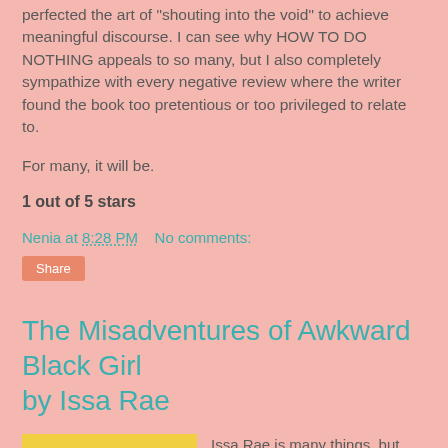perfected the art of "shouting into the void" to achieve meaningful discourse. I can see why HOW TO DO NOTHING appeals to so many, but I also completely sympathize with every negative review where the writer found the book too pretentious or too privileged to relate to.

For many, it will be.
1 out of 5 stars
Nenia at 8:28 PM    No comments:
Share
The Misadventures of Awkward Black Girl by Issa Rae
[Figure (photo): Book cover of 'The Misadventures of Awkward Black Girl' by Issa Rae, yellow background with colorful stylized text]
Issa Rae is many things, but one of those things is